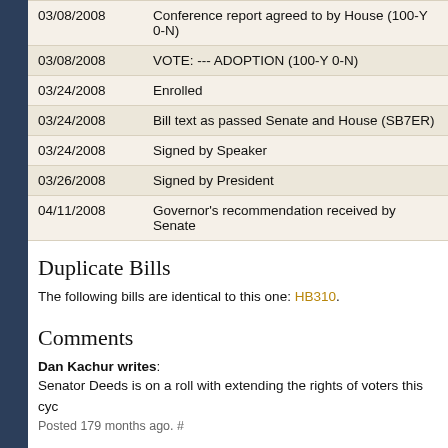| Date | Action |
| --- | --- |
| 03/08/2008 | Conference report agreed to by House (100-Y 0-N) |
| 03/08/2008 | VOTE: --- ADOPTION (100-Y 0-N) |
| 03/24/2008 | Enrolled |
| 03/24/2008 | Bill text as passed Senate and House (SB7ER) |
| 03/24/2008 | Signed by Speaker |
| 03/26/2008 | Signed by President |
| 04/11/2008 | Governor's recommendation received by Senate |
Duplicate Bills
The following bills are identical to this one: HB310.
Comments
Dan Kachur writes: Senator Deeds is on a roll with extending the rights of voters this cycle.
Posted 179 months ago. #
Alison Hymes writes: This is a terrific bill, I hope it passes. As a person with a disability/chronic illness who in the past required dialysis 3 times a week including Tuesdays, this wo...